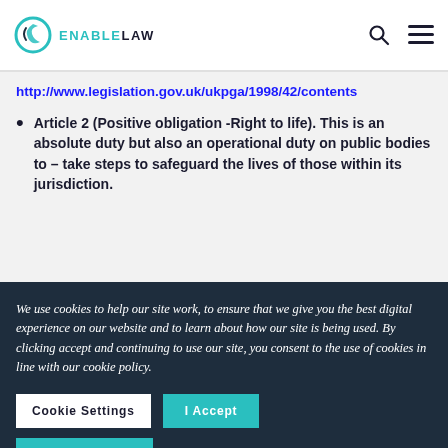Enable Law
http://www.legislation.gov.uk/ukpga/1998/42/contents
Article 2 (Positive obligation -Right to life). This is an absolute duty but also an operational duty on public bodies to – take steps to safeguard the lives of those within its jurisdiction.
We use cookies to help our site work, to ensure that we give you the best digital experience on our website and to learn about how our site is being used. By clicking accept and continuing to use our site, you consent to the use of cookies in line with our cookie policy.
Cookie Settings | I Accept | I Do Not Accept